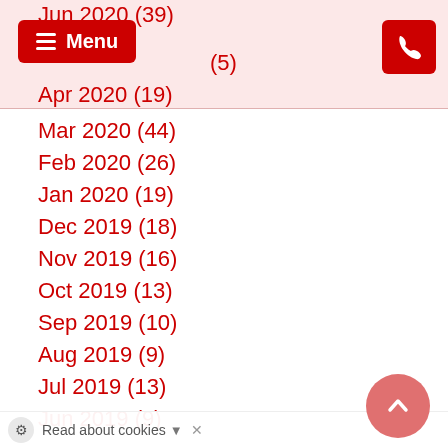Menu [header bar with navigation and phone button]
Mar 2020 (44)
Feb 2020 (26)
Jan 2020 (19)
Dec 2019 (18)
Nov 2019 (16)
Oct 2019 (13)
Sep 2019 (10)
Aug 2019 (9)
Jul 2019 (13)
Jun 2019 (9)
May 2019 (4)
Apr 2019 (5)
Mar 2019 (6)
Feb 2019 (4)
Jan 2019 (3)
Dec 2018 (7)